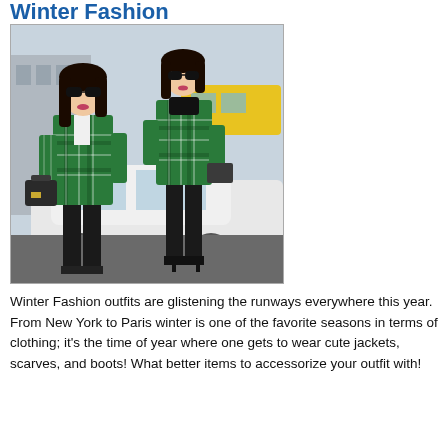Winter Fashion
[Figure (photo): Two women posing outdoors near a white car, both wearing green plaid long coats with black pants and sunglasses. One carries a black handbag, the other wears black high-heeled boots.]
Winter Fashion outfits are glistening the runways everywhere this year. From New York to Paris winter is one of the favorite seasons in terms of clothing; it's the time of year where one gets to wear cute jackets, scarves, and boots! What better items to accessorize your outfit with!